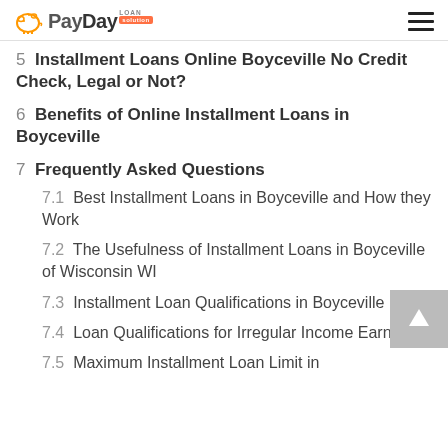PayDay Loan Solution
5  Installment Loans Online Boyceville No Credit Check, Legal or Not?
6  Benefits of Online Installment Loans in Boyceville
7  Frequently Asked Questions
7.1  Best Installment Loans in Boyceville and How they Work
7.2  The Usefulness of Installment Loans in Boyceville of Wisconsin WI
7.3  Installment Loan Qualifications in Boyceville
7.4  Loan Qualifications for Irregular Income Earners
7.5  Maximum Installment Loan Limit in...